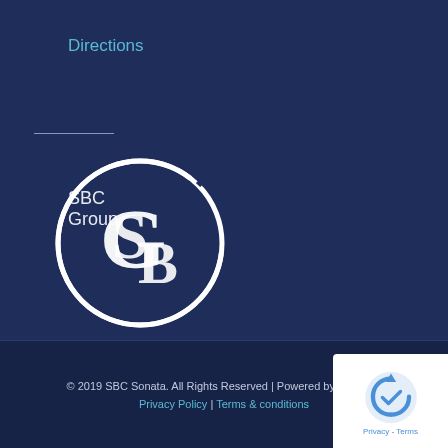Directions
SBC Group
[Figure (logo): SBC Group circular logo with intertwined letters G, S, B, C in white on dark navy blue background]
Return to SBC Global
© 2019 SBC Sonata. All Rights Reserved | Powered by SBC G... | Privacy Policy | Terms & conditions